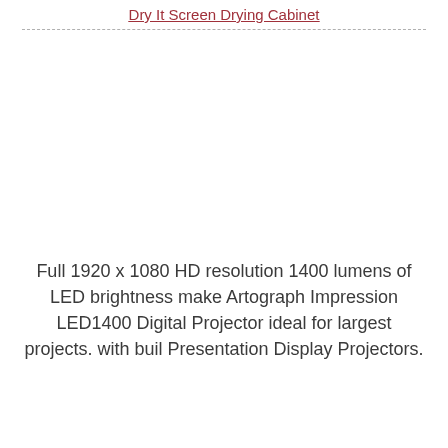Dry It Screen Drying Cabinet
Full 1920 x 1080 HD resolution 1400 lumens of LED brightness make Artograph Impression LED1400 Digital Projector ideal for largest projects. with buil Presentation Display Projectors.